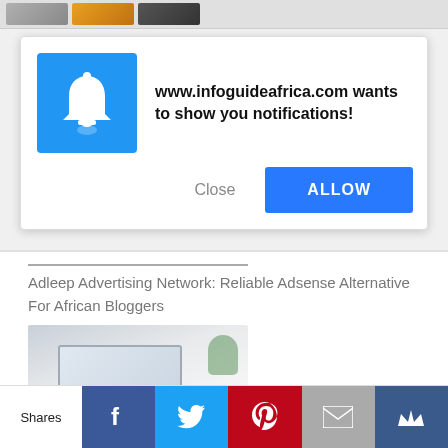[Figure (screenshot): Top browser strip with thumbnail images]
[Figure (screenshot): Browser notification popup: www.infoguideafrica.com wants to show you notifications! with Close and ALLOW buttons]
Adleep Advertising Network: Reliable Adsense Alternative For African Bloggers
[Figure (photo): Aerial view photo of a laptop on a white desk with keyboard, mouse, plant and coffee cup]
Top 7 Amazing Ways To Earn Money Online
[Figure (screenshot): Social sharing bar with Shares label and buttons: Facebook, Twitter, Pinterest, Email, Crown]